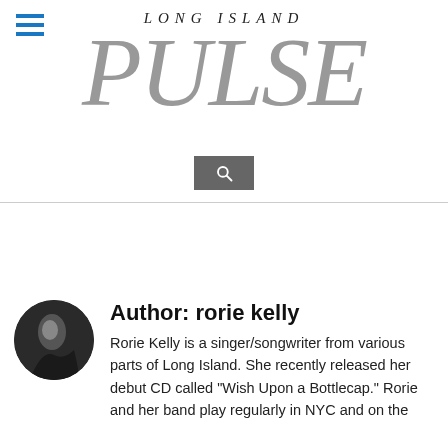LONG ISLAND PULSE
Author: rorie kelly
Rorie Kelly is a singer/songwriter from various parts of Long Island. She recently released her debut CD called "Wish Upon a Bottlecap." Rorie and her band play regularly in NYC and on the